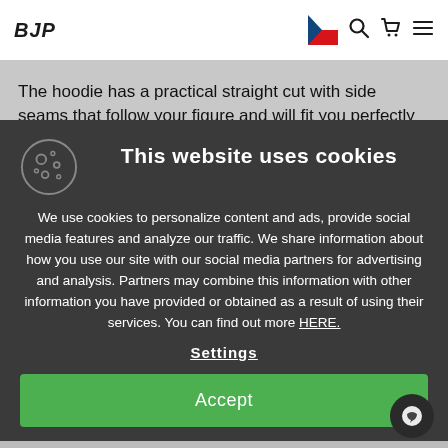BJP
The hoodie has a practical straight cut with side seams that follow your figure and will fit you perfectly
This website uses cookies
We use cookies to personalize content and ads, provide social media features and analyze our traffic. We share information about how you use our site with our social media partners for advertising and analysis. Partners may combine this information with other information you have provided or obtained as a result of using their services. You can find out more HERE.
Settings
Accept